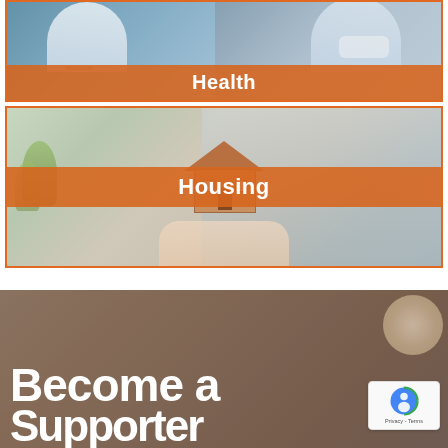[Figure (photo): Photo panel showing medical workers/doctors with a stethoscope and mask, with an orange semi-transparent label reading 'Health' at the bottom]
[Figure (photo): Photo panel showing a person holding a small wooden model house in front of a building with greenery, with an orange semi-transparent label reading 'Housing' in the center]
[Figure (photo): Photo of hands clasped together over a dark-tinted background with decorative element top right and reCAPTCHA badge, with large white bold text reading 'Become a' and partial text below]